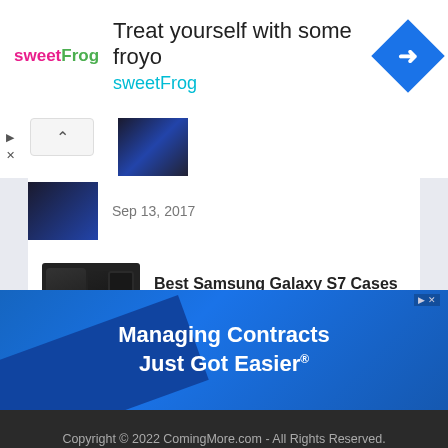[Figure (screenshot): SweetFrog ad banner: logo, 'Treat yourself with some froyo sweetFrog' text, navigation icon]
Sep 13, 2017
Best Samsung Galaxy S7 Cases on Discounted Prices
Mar 6, 2017
Copyright © 2022 ComingMore.com - All Rights Reserved.
Privacy and Cookie Policy   Contact Us
[Figure (screenshot): Blue ad banner: Managing Contracts Just Got Easier®]